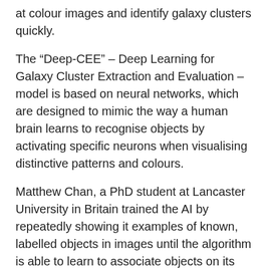at colour images and identify galaxy clusters quickly.
The “Deep-CEE” – Deep Learning for Galaxy Cluster Extraction and Evaluation – model is based on neural networks, which are designed to mimic the way a human brain learns to recognise objects by activating specific neurons when visualising distinctive patterns and colours.
Matthew Chan, a PhD student at Lancaster University in Britain trained the AI by repeatedly showing it examples of known, labelled objects in images until the algorithm is able to learn to associate objects on its own.
Then the researchers ran a pilot study to test the algorithm’s ability to identify and classify galaxy clusters in images that contain many other astronomical objects.
“Data mining techniques such as deep learning will help us to analyse the enormous outputs of modern telescopes” said John Stott from Lancaster University.